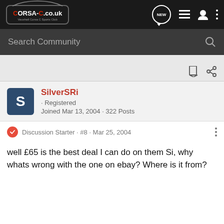CORSA-C.co.uk — Vauxhall Corsa C Sports Club
Search Community
SilverSRi · Registered
Joined Mar 13, 2004 · 322 Posts
Discussion Starter · #8 · Mar 25, 2004
well £65 is the best deal I can do on them Si, why whats wrong with the one on ebay? Where is it from?